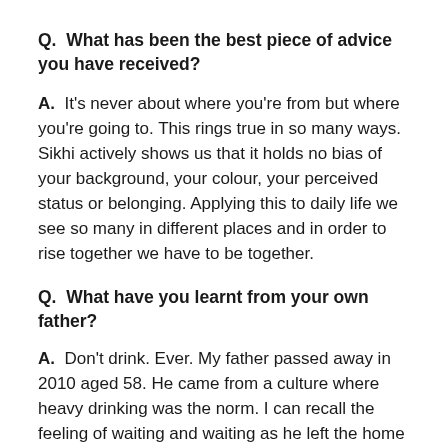Q.  What has been the best piece of advice you have received?
A.  It's never about where you're from but where you're going to. This rings true in so many ways. Sikhi actively shows us that it holds no bias of your background, your colour, your perceived status or belonging. Applying this to daily life we see so many in different places and in order to rise together we have to be together.
Q.  What have you learnt from your own father?
A.  Don't drink. Ever. My father passed away in 2010 aged 58. He came from a culture where heavy drinking was the norm. I can recall the feeling of waiting and waiting as he left the home to go somewhere and how he would return drunk and incoherent. We'd be left waiting to go anywhere and he'd disappear. Over the